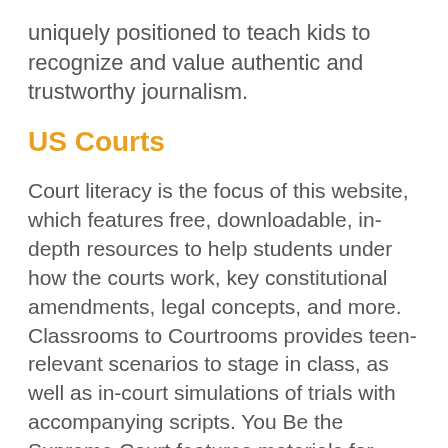uniquely positioned to teach kids to recognize and value authentic and trustworthy journalism.
US Courts
Court literacy is the focus of this website, which features free, downloadable, in-depth resources to help students under how the courts work, key constitutional amendments, legal concepts, and more. Classrooms to Courtrooms provides teen-relevant scenarios to stage in class, as well as in-court simulations of trials with accompanying scripts. You Be the Supreme Court features materials for simulating Supreme Court deliberations.